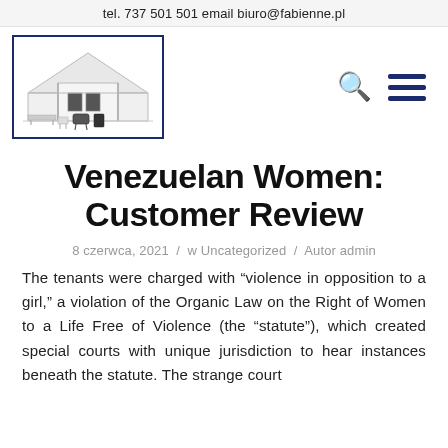tel. 737 501 501 email biuro@fabienne.pl
[Figure (logo): Company logo showing a large white tent/marquee structure with tables and chairs, and outdoor equipment below it, inside a dark blue border rectangle.]
Venezuelan Women: Customer Review
8 czerwca, 2021 / w Uncategorized / Autor admin
The tenants were charged with “violence in opposition to a girl,” a violation of the Organic Law on the Right of Women to a Life Free of Violence (the “statute”), which created special courts with unique jurisdiction to hear instances beneath the statute. The strange court